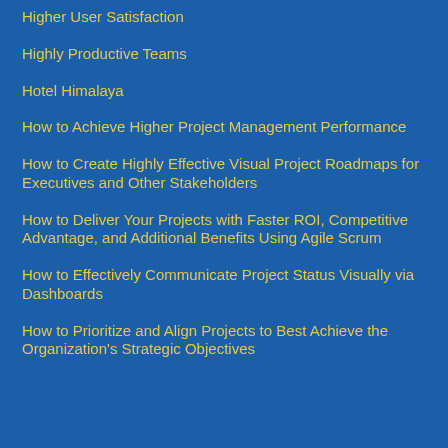Higher User Satisfaction
Highly Productive Teams
Hotel Himalaya
How to Achieve Higher Project Management Performance
How to Create Highly Effective Visual Project Roadmaps for Executives and Other Stakeholders
How to Deliver Your Projects with Faster ROI, Competitive Advantage, and Additional Benefits Using Agile Scrum
How to Effectively Communicate Project Status Visually via Dashboards
How to Prioritize and Align Projects to Best Achieve the Organization's Strategic Objectives